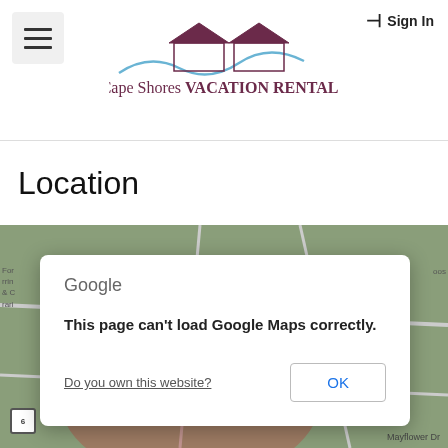[Figure (logo): Cape Shores Vacation Rentals logo with two house silhouettes and a blue wave line above the text]
Sign In
Location
[Figure (screenshot): Google Maps embedded map showing an error dialog: 'This page can't load Google Maps correctly.' with a 'Do you own this website?' link and an OK button. The map background shows roads including Michaels Way, Old Mill Way, Old Hay Rd, and Mayflower Dr with a red circle overlay.]